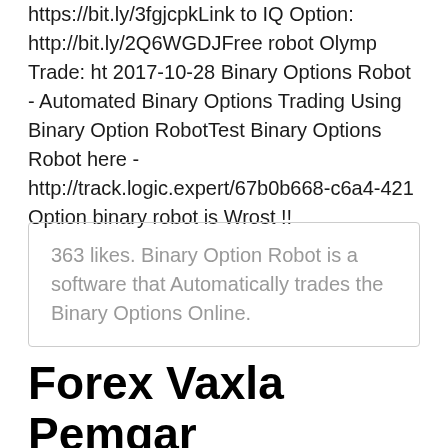https://bit.ly/3fgjcpkLink to IQ Option: http://bit.ly/2Q6WGDJFree robot Olymp Trade: ht 2017-10-28 Binary Options Robot - Automated Binary Options Trading Using Binary Option RobotTest Binary Options Robot here - http://track.logic.expert/67b0b668-c6a4-421 Option binary robot is Wrost !!
363 likes. Binary Option Robot is a software that Automatically trades the Binary Options Online.
Forex Vaxla Pemgar Flashback - Arena-